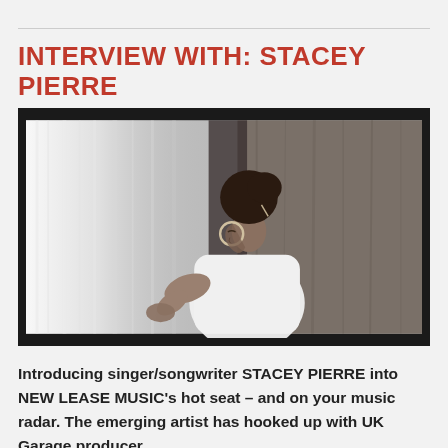INTERVIEW WITH: STACEY PIERRE
[Figure (photo): Black and white photograph of Stacey Pierre, a young woman with her hair up in a bun, wearing hoop earrings and a white top, leaning against a wooden wall with eyes closed, viewed from a side/back angle.]
Introducing singer/songwriter STACEY PIERRE into NEW LEASE MUSIC's hot seat – and on your music radar. The emerging artist has hooked up with UK Garage producer